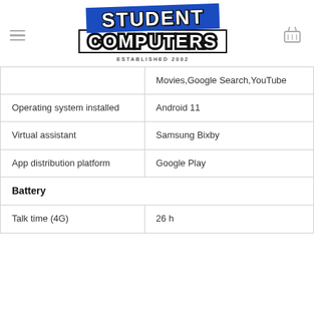[Figure (logo): Student Computers logo with blue banner and established 2002 text]
|  | Movies,Google Search,YouTube |
| Operating system installed | Android 11 |
| Virtual assistant | Samsung Bixby |
| App distribution platform | Google Play |
| Battery |  |
| Talk time (4G) | 26 h |